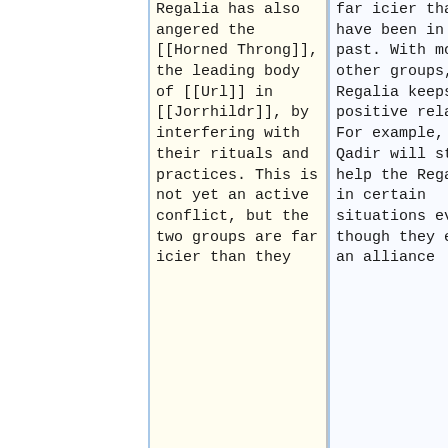Regalia has also angered the [[Horned Throng]], the leading body of [[Url]] in [[Jorrhildr]], by interfering with their rituals and practices. This is not yet an active conflict, but the two groups are far icier than they
far icier than they have been in the past. With most other groups, Regalia keeps up positive relations. For example, the Qadir will still help the Regalians in certain situations even though they exited an alliance